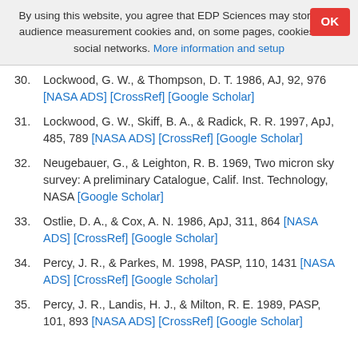By using this website, you agree that EDP Sciences may store web audience measurement cookies and, on some pages, cookies from social networks. More information and setup
30. Lockwood, G. W., & Thompson, D. T. 1986, AJ, 92, 976 [NASA ADS] [CrossRef] [Google Scholar]
31. Lockwood, G. W., Skiff, B. A., & Radick, R. R. 1997, ApJ, 485, 789 [NASA ADS] [CrossRef] [Google Scholar]
32. Neugebauer, G., & Leighton, R. B. 1969, Two micron sky survey: A preliminary Catalogue, Calif. Inst. Technology, NASA [Google Scholar]
33. Ostlie, D. A., & Cox, A. N. 1986, ApJ, 311, 864 [NASA ADS] [CrossRef] [Google Scholar]
34. Percy, J. R., & Parkes, M. 1998, PASP, 110, 1431 [NASA ADS] [CrossRef] [Google Scholar]
35. Percy, J. R., Landis, H. J., & Milton, R. E. 1989, PASP, 101, 893 [NASA ADS] [CrossRef] [Google Scholar]